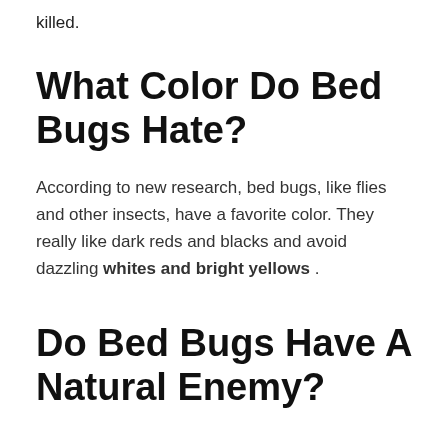killed.
What Color Do Bed Bugs Hate?
According to new research, bed bugs, like flies and other insects, have a favorite color. They really like dark reds and blacks and avoid dazzling whites and bright yellows .
Do Bed Bugs Have A Natural Enemy?